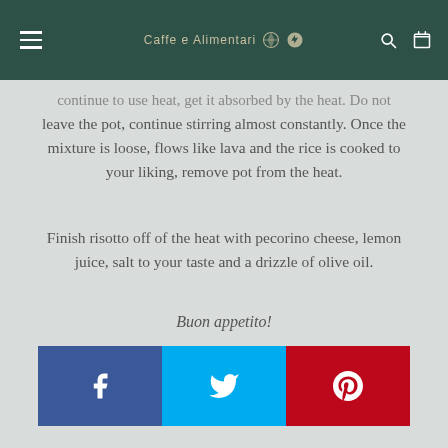Caffe e Alimentari
continue to add stock as it is absorbed by the heat. Do not leave the pot, continue stirring almost constantly. Once the mixture is loose, flows like lava and the rice is cooked to your liking, remove pot from the heat.
Finish risotto off of the heat with pecorino cheese, lemon juice, salt to your taste and a drizzle of olive oil.
Buon appetito!
Written by Caffe La Tana
[Figure (infographic): Social share buttons: Facebook (blue), Twitter (cyan), Pinterest (red), each with respective icons]